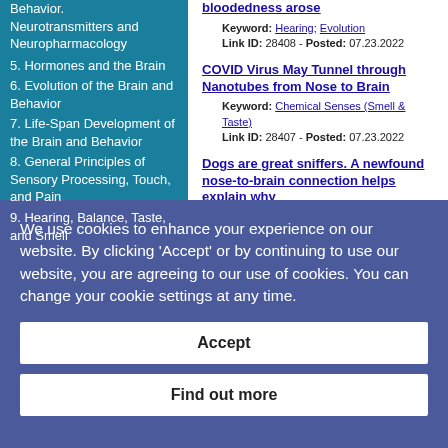Behavior. Neurotransmitters and Neuropharmacology
5. Hormones and the Brain
6. Evolution of the Brain and Behavior
7. Life-Span Development of the Brain and Behavior
8. General Principles of Sensory Processing, Touch, and Pain
9. Hearing, Balance, Taste, and Smell
bloodedness arose
Keyword: Hearing; Evolution
Link ID: 28408 - Posted: 07.23.2022
COVID Virus May Tunnel through Nanotubes from Nose to Brain
Keyword: Chemical Senses (Smell & Taste)
Link ID: 28407 - Posted: 07.23.2022
Dogs are great sniffers. A newfound nose-to-brain connection helps explain why
Keyword: Chemical Senses (Smell & Taste); Evolution
We use cookies to enhance your experience on our website. By clicking 'Accept' or by continuing to use our website, you are agreeing to our use of cookies. You can change your cookie settings at any time.
Accept
Find out more